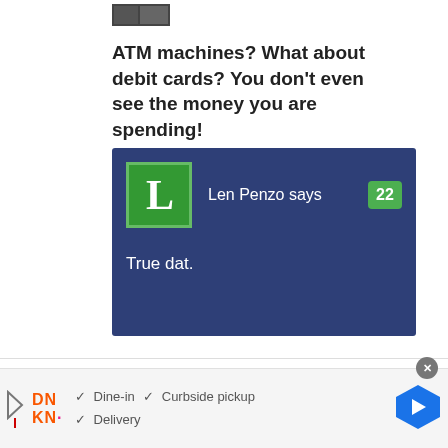[Figure (photo): Small thumbnail image in top left area]
ATM machines? What about debit cards? You don't even see the money you are spending!
[Figure (screenshot): Comment box with dark blue background showing Len Penzo avatar with letter L, commenter name 'Len Penzo says', count badge '22', and comment text 'True dat.']
[Figure (infographic): Advertisement bar for Dunkin Donuts showing DN KN logo, checkmarks for Dine-in, Curbside pickup, Delivery, and a navigation arrow icon]